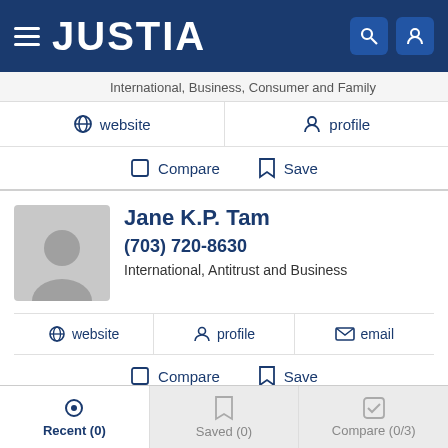JUSTIA
International, Business, Consumer and Family
website  profile  Compare  Save
Jane K.P. Tam
(703) 720-8630
International, Antitrust and Business
website  profile  email  Compare  Save
William Strickland
Recent (0)  Saved (0)  Compare (0/3)